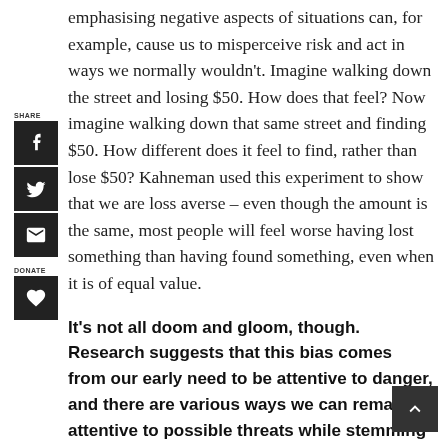emphasising negative aspects of situations can, for example, cause us to misperceive risk and act in ways we normally wouldn't. Imagine walking down the street and losing $50. How does that feel? Now imagine walking down that same street and finding $50. How different does it feel to find, rather than lose $50? Kahneman used this experiment to show that we are loss averse – even though the amount is the same, most people will feel worse having lost something than having found something, even when it is of equal value.
It's not all doom and gloom, though. Research suggests that this bias comes from our early need to be attentive to danger, and there are various ways we can remain attentive to possible threats while stemming the effect of negativity on our mental state.
Minimising negativity bias can be difficult, especially